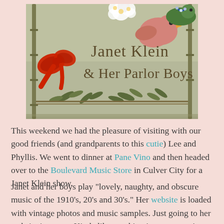[Figure (illustration): Album/show art for Janet Klein & Her Parlor Boys — vintage illustration with decorative birds, red bow, floral branches, and text 'Janet Klein & Her Parlor Boys' in brown serif font on a muted green/sage background.]
This weekend we had the pleasure of visiting with our good friends (and grandparents to this cutie) Lee and Phyllis. We went to dinner at Pane Vino and then headed over to the Boulevard Music Store in Culver City for a Janet Klein show.
Janet and her boys play "lovely, naughty, and obscure music of the 1910's, 20's and 30's." Her website is loaded with vintage photos and music samples. Just going to her website is a treat. Kinda like sneaking into someone's gorgeous vintage steamer trunk. Truly, it is worth a look. Grab a cup of